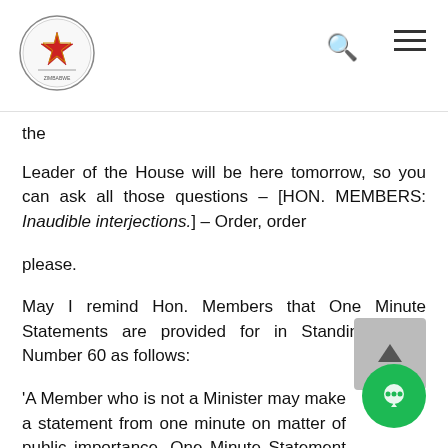Parliament of Zimbabwe header with logo, search icon, and menu icon
the
Leader of the House will be here tomorrow, so you can ask all those questions – [HON. MEMBERS: Inaudible interjections.] – Order, order
please.
May I remind Hon. Members that One Minute Statements are provided for in Standing Order Number 60 as follows:
'A Member who is not a Minister may make a statement from one minute on matter of public importance. One Minute Statement shall be made until Twe   e Minutes to Three o'clock p.m. on a Tuesday,